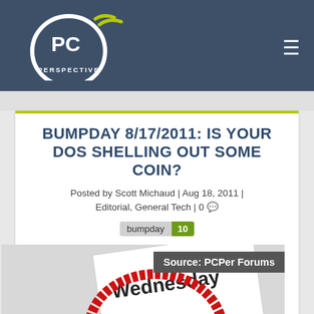PC Perspective
BUMPDAY 8/17/2011: IS YOUR DOS SHELLING OUT SOME COIN?
Posted by Scott Michaud | Aug 18, 2011 | Editorial, General Tech | 0
[Figure (other): bumpday badge with count 10]
[Figure (illustration): Wednesday BUMPDAY calendar image with red stamp overlay, Source: PCPer Forums overlay badge]